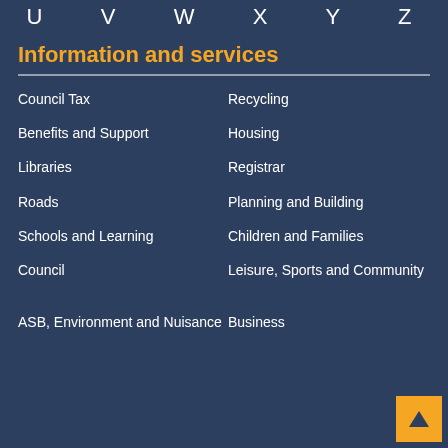U V W X Y Z
Information and services
Council Tax
Recycling
Benefits and Support
Housing
Libraries
Registrar
Roads
Planning and Building
Schools and Learning
Children and Families
Council
Leisure, Sports and Community
ASB, Environment and Nuisance
Business